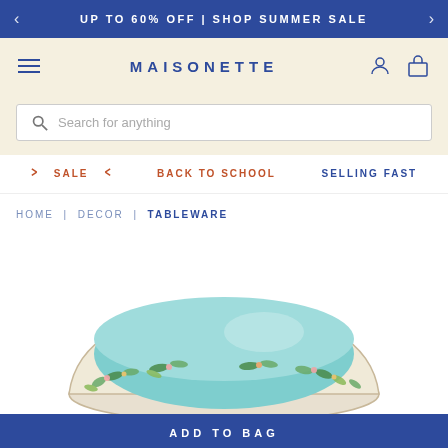UP TO 60% OFF | SHOP SUMMER SALE
MAISONETTE
Search for anything
SALE
BACK TO SCHOOL
SELLING FAST
HOME | DECOR | TABLEWARE
[Figure (photo): A decorative bowl with floral/botanical pattern on the outside and turquoise interior, partially visible from above]
ADD TO BAG